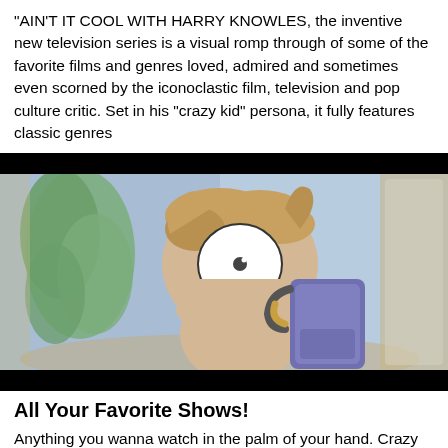"AIN'T IT COOL WITH HARRY KNOWLES, the inventive new television series is a visual romp through of some of the favorite films and genres loved, admired and sometimes even scorned by the iconoclastic film, television and pop culture critic. Set in his "crazy kid" persona, it fully features classic genres...
[Figure (illustration): Animated cartoon illustration of a wide-eyed character with exaggerated single large eye, sandy hair, looking through what appears to be a window or screen. Background shows blue watercolor-style wall, and a green tree/plant. Character has a backpack. Black letterbox bars at top and bottom of image.]
All Your Favorite Shows!
Anything you wanna watch in the palm of your hand. Crazy convenient...crazy.